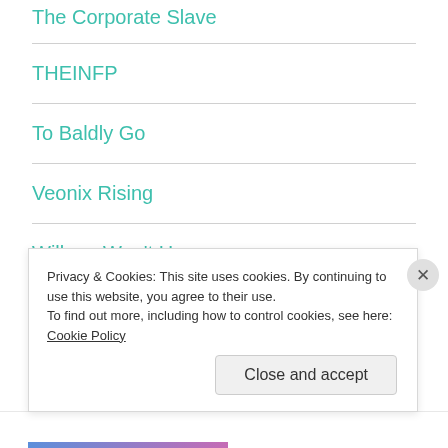The Corporate Slave
THEINFP
To Baldly Go
Veonix Rising
Willy or Won't He
Privacy & Cookies: This site uses cookies. By continuing to use this website, you agree to their use.
To find out more, including how to control cookies, see here: Cookie Policy
Close and accept